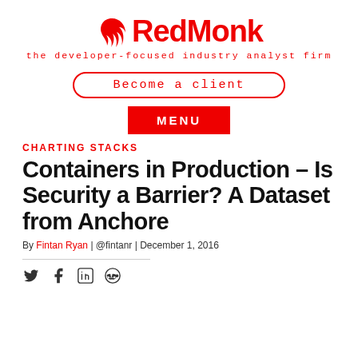RedMonk — the developer-focused industry analyst firm
Become a client
MENU
CHARTING STACKS
Containers in Production – Is Security a Barrier? A Dataset from Anchore
By Fintan Ryan | @fintanr | December 1, 2016
[Figure (other): Social sharing icons: Twitter, Facebook, LinkedIn, Reddit]